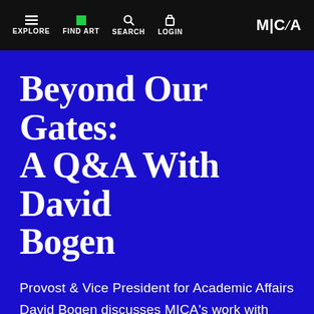EXPLORE  FIND ART  SEARCH  LOGIN  M|C/A
Beyond Our Gates: A Q&A With David Bogen
Provost & Vice President for Academic Affairs David Bogen discusses MICA's work with community stakeholders in Baltimore, specifically in and around the Station North Arts and Entertainment District adjacent to MICA's campus.